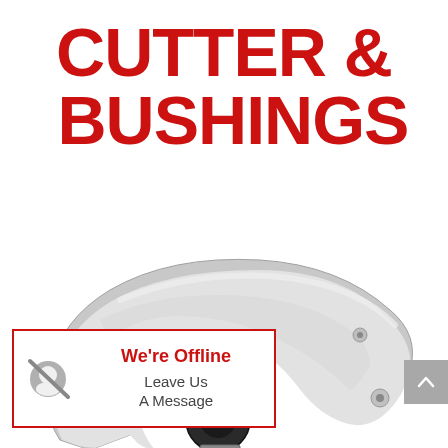CUTTER & BUSHINGS
[Figure (photo): Close-up photo of a metallic pipe cutter tool with a curved chrome/silver body and a black cutting wheel, shown against a white background. The cutter has a hooked C-shaped frame with a small roller and threaded adjustment mechanism visible.]
We're Offline Leave Us A Message